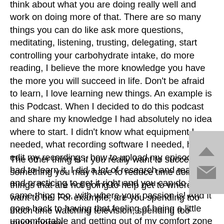think about what you are doing really well and work on doing more of that.  There are so many things you can do like ask more questions, meditating, listening, trusting, delegating, start controlling your carbohydrate intake, do more reading, I believe the more knowledge you have the more you will succeed in life.  Don't be afraid to learn, I love learning new things.  An example is this Podcast.  When I decided to do this podcast and share my knowledge I had absolutely no idea where to start.  I didn't know what equipment I needed, what recording software I needed, how to edit my recordings, how to upload my episodes, I had to learn it, I did a lot of research and reading and practicing to get it right and you can do the same thing too, with where your passion is!  And it goes back to having that feeling of being a little uncomfortable and getting out of my comfort zone to take the risk and get this knowledge out to the world!
The other thing is if you really want to succeed at something you may have to reduce time doing things that are not going to help get to where you want to be.  For example, are you spending too much time watching television, spending too much money,